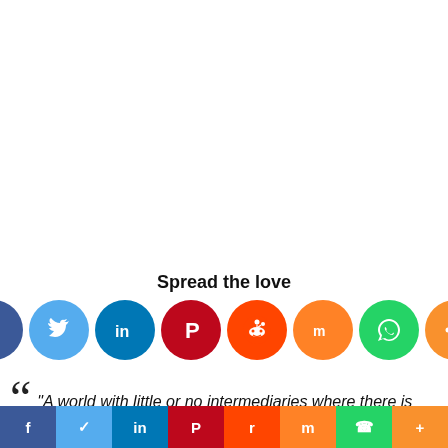Spread the love
[Figure (infographic): Row of social media share buttons as colored circles: Facebook (dark blue), Twitter (light blue), LinkedIn (dark teal/blue), Pinterest (red), Reddit (orange-red), Mix (orange), WhatsApp (green), More (orange)]
“A world with little or no intermediaries where there is
[Figure (infographic): Bottom social share bar with colored sections: Facebook (dark blue), Twitter (light blue), LinkedIn (dark blue), Pinterest (red), Reddit (orange-red), Mix (orange), WhatsApp (green), More (orange)]